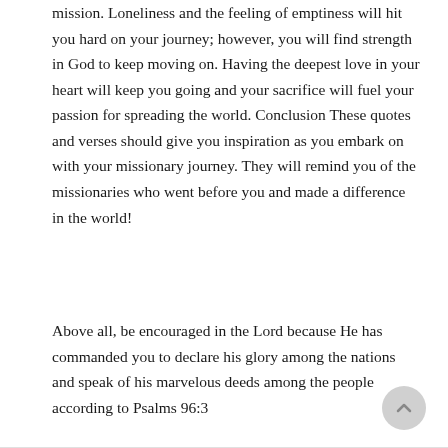mission. Loneliness and the feeling of emptiness will hit you hard on your journey; however, you will find strength in God to keep moving on. Having the deepest love in your heart will keep you going and your sacrifice will fuel your passion for spreading the world. Conclusion These quotes and verses should give you inspiration as you embark on with your missionary journey. They will remind you of the missionaries who went before you and made a difference in the world!
Above all, be encouraged in the Lord because He has commanded you to declare his glory among the nations and speak of his marvelous deeds among the people according to Psalms 96:3